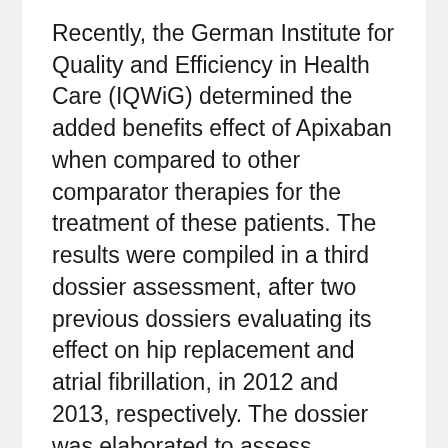Recently, the German Institute for Quality and Efficiency in Health Care (IQWiG) determined the added benefits effect of Apixaban when compared to other comparator therapies for the treatment of these patients. The results were compiled in a third dossier assessment, after two previous dossiers evaluating its effect on hip replacement and atrial fibrillation, in 2012 and 2013, respectively. The dossier was elaborated to assess Apixaban performance in two experimental settings — as an initial therapy, where the authors tested Apixaban (10...